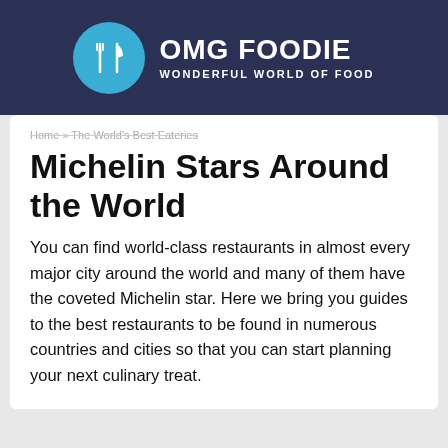OMG FOODIE WONDERFUL WORLD OF FOOD
Home » The World's Best Eateries
Michelin Stars Around the World
You can find world-class restaurants in almost every major city around the world and many of them have the coveted Michelin star. Here we bring you guides to the best restaurants to be found in numerous countries and cities so that you can start planning your next culinary treat.